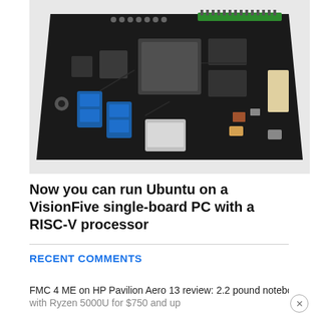[Figure (photo): Photo of a VisionFive single-board computer (SBC) with RISC-V processor. The black PCB board shows USB 3.0 ports (blue), Ethernet port, GPIO header pins in green, and various chips and connectors on a light/white background.]
Now you can run Ubuntu on a VisionFive single-board PC with a RISC-V processor
RECENT COMMENTS
FMC 4 ME on HP Pavilion Aero 13 review: 2.2 pound notebook with Ryzen 5000U for $750 and up